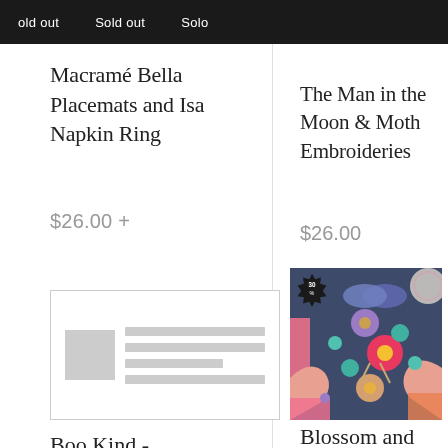Sold out   Sold out   Solo
Macramé Bella Placemats and Isa Napkin Ring
$26.00 +
[Figure (other): Placeholder product image with grey thumbnail and lines]
Boo Kind -
The Man in the Moon & Moth Embroideries
$26.00
[Figure (photo): Hands arranging a colorful floral garland/wreath with fabric flowers in pink, purple, teal on a dark blue background. A 30% discount badge appears in the top-left corner of the image.]
Blossom and